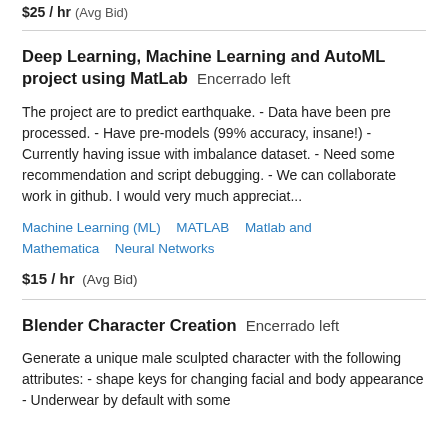$25 / hr  (Avg Bid)
Deep Learning, Machine Learning and AutoML project using MatLab  Encerrado left
The project are to predict earthquake. - Data have been pre processed. - Have pre-models (99% accuracy, insane!) - Currently having issue with imbalance dataset. - Need some recommendation and script debugging. - We can collaborate work in github. I would very much appreciat...
Machine Learning (ML)   MATLAB   Matlab and Mathematica   Neural Networks
$15 / hr  (Avg Bid)
Blender Character Creation  Encerrado left
Generate a unique male sculpted character with the following attributes: - shape keys for changing facial and body appearance - Underwear by default with some